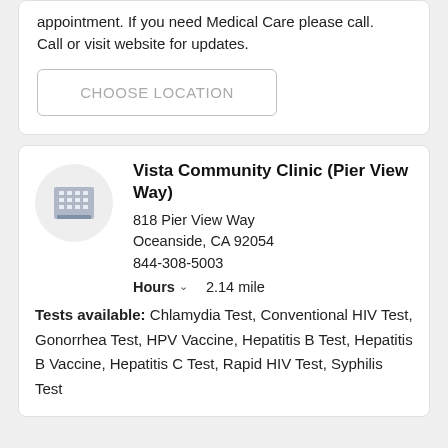appointment. If you need Medical Care please call. Call or visit website for updates.
CHOOSE LOCATION
Vista Community Clinic (Pier View Way)
818 Pier View Way
Oceanside, CA 92054
844-308-5003
Hours  2.14 mile
Tests available: Chlamydia Test, Conventional HIV Test, Gonorrhea Test, HPV Vaccine, Hepatitis B Test, Hepatitis B Vaccine, Hepatitis C Test, Rapid HIV Test, Syphilis Test